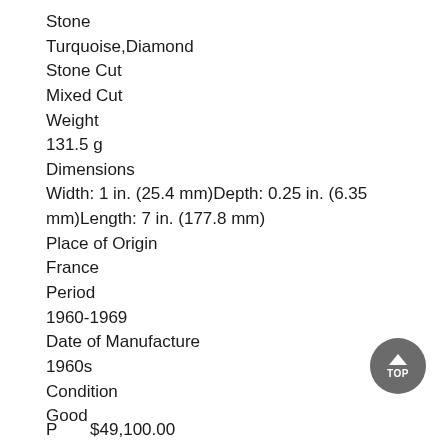Stone
Turquoise,Diamond
Stone Cut
Mixed Cut
Weight
131.5 g
Dimensions
Width: 1 in. (25.4 mm)Depth: 0.25 in. (6.35 mm)Length: 7 in. (177.8 mm)
Place of Origin
France
Period
1960-1969
Date of Manufacture
1960s
Condition
Good
P         $49,100.00